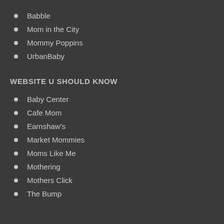Babble
Mom in the City
Mommy Poppins
UrbanBaby
WEBSITE U SHOULD KNOW
Baby Center
Cafe Mom
Earnshaw's
Market Mommies
Moms Like Me
Mothering
Mothers Click
The Bump